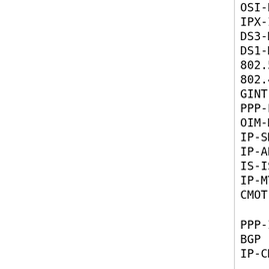OSI-NSAP   Guidelines for OS
IPX-IP     Tunneling IPX Tra
DS3-MIB    DS3 Interface Obje
DS1-MIB    DS1 Interface Obje
802.5-MIB  IEEE 802.5 Token R
802.4-MIP  IEEE 802.4 Token B
GINT-MIB   Extensions to the
PPP-EXT    PPP Extensions for
OIM-MIB-II OSI Internet Manag
IP-SMDS    IP Datagrams over
IP-ARCNET  Transmitting IP Tr
IS-IS      OSI IS-IS for TCP/
IP-MTU     Path MTU Discovery
CMOT       Common Management and Protocol over
PPP-INIT   PPP Initial Config
BGP        Border Gateway Pro
IP-CMPRS   Compressing TCP/IP
ISO-TS-ECHO Echo for ISO-8473
SUN-NFS    Network File Syste
SUN-RPC    Remote Procedure C